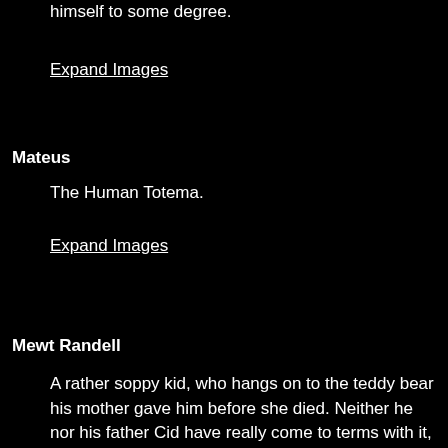himself to some degree.
Expand Images
Mateus
The Human Totema.
Expand Images
Mewt Randell
A rather soppy kid, who hangs on to the teddy bear his mother gave him before she died. Neither he nor his father Cid have really come to terms with it, but being bullied at school doesn't help either. Marche's dreams form the basic structure of Ivalice when it's